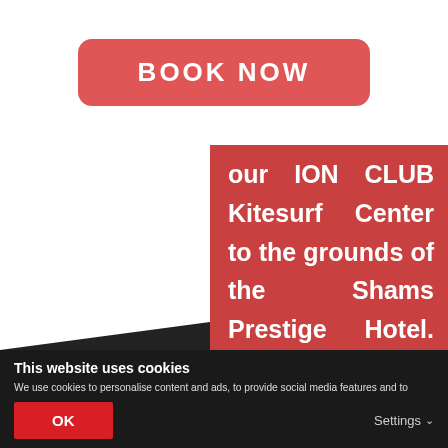BOOK NOW
our ION CLUB Kitesurf Center to the grounds of the Shams Prestige Hotel. Windsurfers and Kitesurfers alike appreciate the everlasting constant and steady wind, the wonderful turquoise sea and last but not least the
This website uses cookies
We use cookies to personalise content and ads, to provide social media features and to analyse our traffic. We also share information about your use of our site with our social media, advertising and analytics partners who may combine it with other information that you've provided to them or that they've collected from your use of their services. You consent to our cookies if you continue to use our website.
OK
Settings